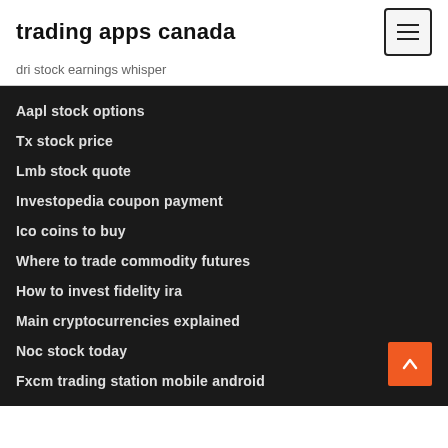trading apps canada
dri stock earnings whisper
Aapl stock options
Tx stock price
Lmb stock quote
Investopedia coupon payment
Ico coins to buy
Where to trade commodity futures
How to invest fidelity ira
Main cryptocurrencies explained
Noc stock today
Fxcm trading station mobile android